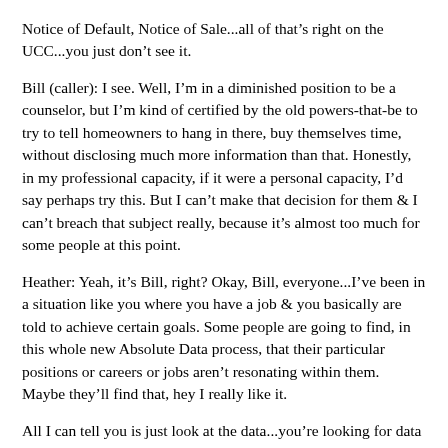Notice of Default, Notice of Sale...all of that’s right on the UCC...you just don’t see it.
Bill (caller): I see. Well, I’m in a diminished position to be a counselor, but I’m kind of certified by the old powers-that-be to try to tell homeowners to hang in there, buy themselves time, without disclosing much more information than that. Honestly, in my professional capacity, if it were a personal capacity, I’d say perhaps try this. But I can’t make that decision for them & I can’t breach that subject really, because it’s almost too much for some people at this point.
Heather: Yeah, it’s Bill, right? Okay, Bill, everyone...I’ve been in a situation like you where you have a job & you basically are told to achieve certain goals. Some people are going to find, in this whole new Absolute Data process, that their particular positions or careers or jobs aren’t resonating within them. Maybe they’ll find that, hey I really like it.
All I can tell you is just look at the data...you’re looking for data & analyzing the data & there’s nothing wrong with that. You don’t have to go & make life-altering decisions, until you feel & then